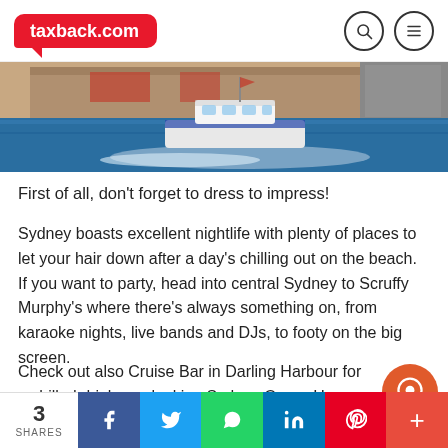taxback.com
[Figure (photo): Aerial photo of a white boat speeding across blue harbour water near a warehouse/dock building]
First of all, don't forget to dress to impress!
Sydney boasts excellent nightlife with plenty of places to let your hair down after a day's chilling out on the beach. If you want to party, head into central Sydney to Scruffy Murphy's where there's always something on, from karaoke nights, live bands and DJs, to footy on the big screen.
Check out also Cruise Bar in Darling Harbour for a chilled drink overlooking Sydney Opera House.
3 SHARES — Facebook, Twitter, WhatsApp, LinkedIn, Pinterest, More